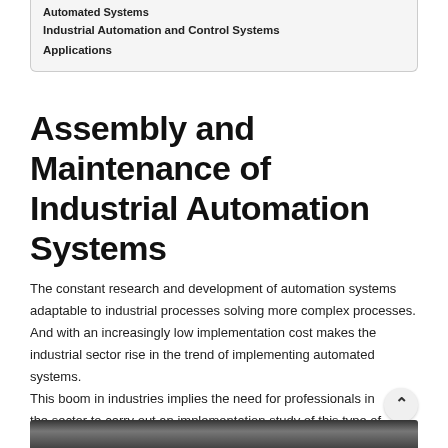Automated Systems
Industrial Automation and Control Systems
Applications
Assembly and Maintenance of Industrial Automation Systems
The constant research and development of automation systems adaptable to industrial processes solving more complex processes. And with an increasingly low implementation cost makes the industrial sector rise in the trend of implementing automated systems.
This boom in industries implies the need for professionals in the sector to carry out an implementation study of this type of system.
[Figure (photo): Dark photograph of industrial automation equipment or professional in industrial setting]